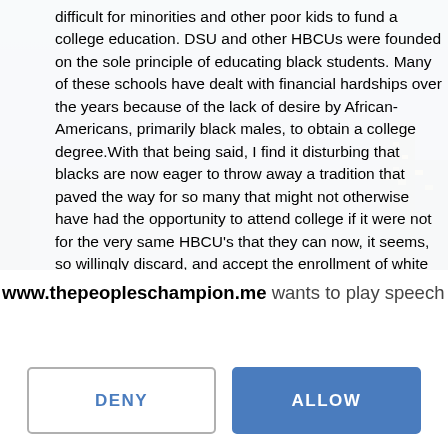difficult for minorities and other poor kids to fund a college education. DSU and other HBCUs were founded on the sole principle of educating black students. Many of these schools have dealt with financial hardships over the years because of the lack of desire by African-Americans, primarily black males, to obtain a college degree.With that being said, I find it disturbing that blacks are now eager to throw away a tradition that paved the way for so many that might not otherwise have had the opportunity to attend college if it were not for the very same HBCU's that they can now, it seems, so willingly discard, and accept the enrollment of white students in greater numbers than ever before. The reality is that the economy is now so bad that larger numbers of so-called affluent whites can no longer afford the pricey tuition that they have become accustom to, and suddenly the better traditionally black schools are being sought out by a reeling and financially strapped white community in their own phase of plan B. Though I find it extremely flattering that DSU is in fact considered one of the better black schools, I am admittedly not prepared to joyfully embrace such an acquisition, and roll out the welcome mat simply because white kids can no longer afford to attend institutions of higher learning that their community has diligently fought to
www.thepeopleschampion.me wants to play speech
[Figure (screenshot): Two buttons: DENY (white background, gray border, blue text) and ALLOW (blue background, white text) in a browser permission dialog]